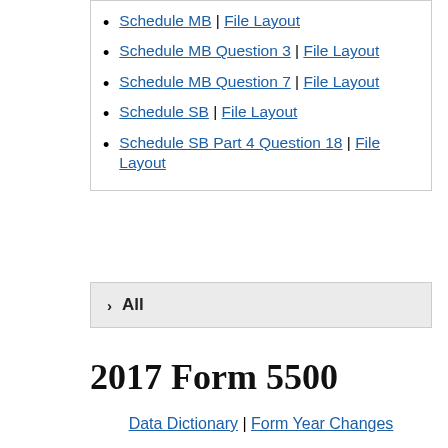Schedule MB | File Layout
Schedule MB Question 3 | File Layout
Schedule MB Question 7 | File Layout
Schedule SB | File Layout
Schedule SB Part 4 Question 18 | File Layout
› All
2017 Form 5500
Data Dictionary | Form Year Changes